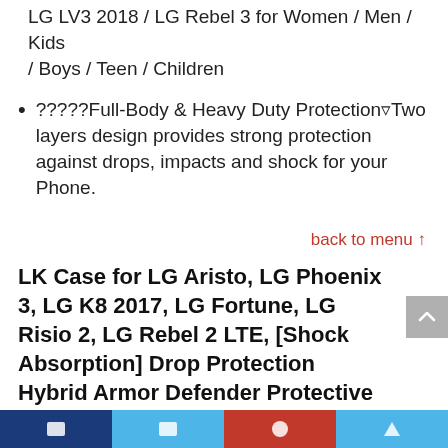LG LV3 2018 / LG Rebel 3 for Women / Men / Kids / Boys / Teen / Children
?????Full-Body & Heavy Duty Protection▿Two layers design provides strong protection against drops, impacts and shock for your Phone.
back to menu ↑
LK Case for LG Aristo, LG Phoenix 3, LG K8 2017, LG Fortune, LG Risio 2, LG Rebel 2 LTE, [Shock Absorption] Drop Protection Hybrid Armor Defender Protective Case Cover (Black)